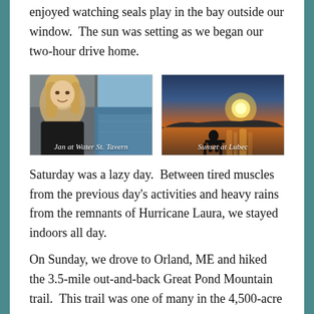enjoyed watching seals play in the bay outside our window.  The sun was setting as we began our two-hour drive home.
[Figure (photo): Woman smiling at Water St. Tavern with window and bay in background. Caption: Jan at Water St. Tavern]
[Figure (photo): Sunset over water at Lubec with silhouette of person on bench. Caption: Sunset at Lubec]
Saturday was a lazy day.  Between tired muscles from the previous day’s activities and heavy rains from the remnants of Hurricane Laura, we stayed indoors all day.
On Sunday, we drove to Orland, ME and hiked the 3.5-mile out-and-back Great Pond Mountain trail.  This trail was one of many in the 4,500-acre tract